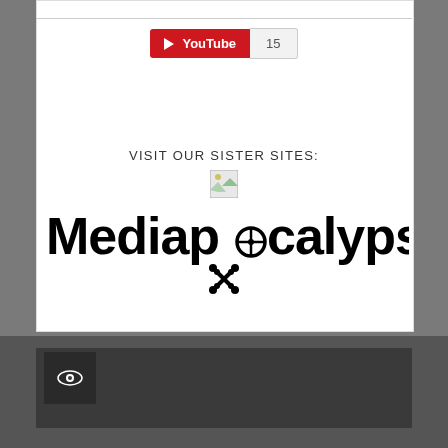[Figure (logo): YouTube subscribe button showing red YouTube logo with play icon and text 'YouTube' followed by count badge showing '15']
VISIT OUR SISTER SITES:
[Figure (illustration): Small broken/placeholder image icon with green and white triangle]
[Figure (logo): Mediapocalypse logo in large bold black text with a crosshair/skull replacing the 'o' and crossbones beneath]
[Figure (other): Dark footer section with dark card and small eye icon in bottom-left box]